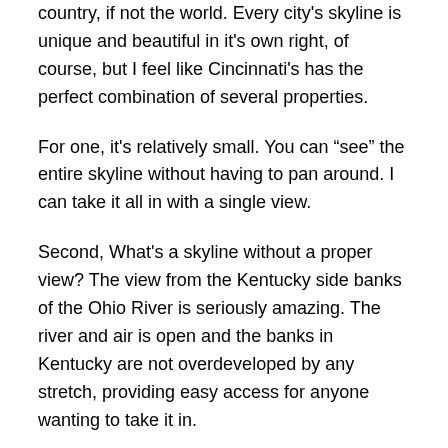country, if not the world. Every city's skyline is unique and beautiful in it's own right, of course, but I feel like Cincinnati's has the perfect combination of several properties.
For one, it's relatively small. You can “see” the entire skyline without having to pan around. I can take it all in with a single view.
Second, What's a skyline without a proper view? The view from the Kentucky side banks of the Ohio River is seriously amazing. The river and air is open and the banks in Kentucky are not overdeveloped by any stretch, providing easy access for anyone wanting to take it in.
Third, the architecture really tells a story, although I imagine this is common with many cities. You’ve got several remnants from “Old Cincinnati”, the late 1800s